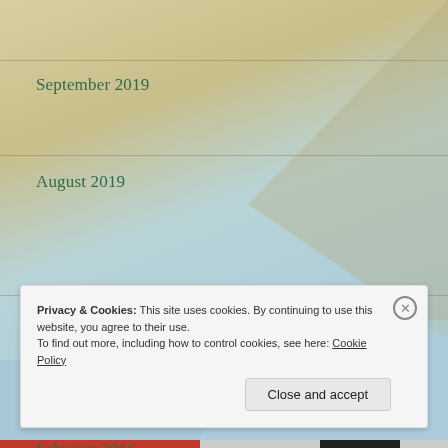September 2019
August 2019
July 2019
March 2016
February 2016
Privacy & Cookies: This site uses cookies. By continuing to use this website, you agree to their use. To find out more, including how to control cookies, see here: Cookie Policy
Close and accept